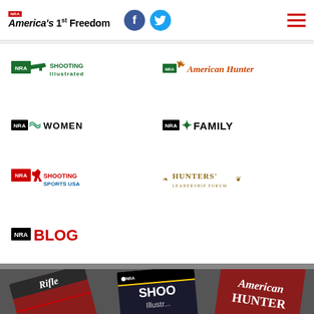NRA America's 1st Freedom
[Figure (logo): NRA Shooting Illustrated logo]
[Figure (logo): NRA American Hunter logo]
[Figure (logo): NRA Women logo]
[Figure (logo): NRA Family logo]
[Figure (logo): NRA Shooting Sports USA logo]
[Figure (logo): Hunters Leadership Forum logo]
[Figure (logo): NRA Blog logo]
[Figure (photo): Fan of NRA magazine covers including Rifle, NRA Shooting Illustrated, and American Hunter]